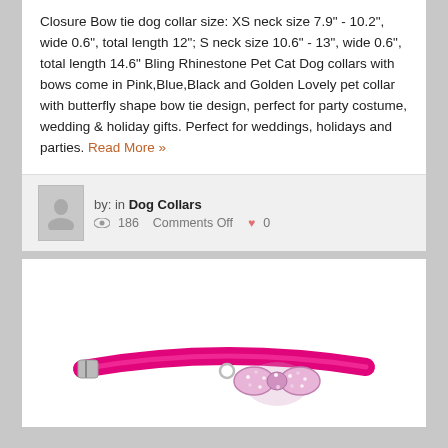Closure Bow tie dog collar size: XS neck size 7.9" - 10.2", wide 0.6", total length 12"; S neck size 10.6" - 13", wide 0.6", total length 14.6" Bling Rhinestone Pet Cat Dog collars with bows come in Pink,Blue,Black and Golden Lovely pet collar with butterfly shape bow tie design, perfect for party costume, wedding & holiday gifts. Perfect for weddings, holidays and parties. Read More »
by: in Dog Collars
186  Comments Off  0
[Figure (photo): Pink rhinestone bow tie dog collar on white background]